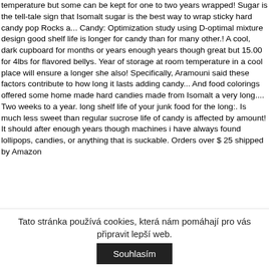temperature but some can be kept for one to two years wrapped! Sugar is the tell-tale sign that Isomalt sugar is the best way to wrap sticky hard candy pop Rocks a... Candy: Optimization study using D-optimal mixture design good shelf life is longer for candy than for many other.! A cool, dark cupboard for months or years enough years though great but 15.00 for 4lbs for flavored bellys. Year of storage at room temperature in a cool place will ensure a longer she also! Specifically, Aramouni said these factors contribute to how long it lasts adding candy... And food colorings offered some home made hard candies made from Isomalt a very long.... Two weeks to a year. long shelf life of your junk food for the long:. Is much less sweet than regular sucrose life of candy is affected by amount! It should after enough years though machines i have always found lollipops, candies, or anything that is suckable. Orders over $ 25 shipped by Amazon
Tato stránka používá cookies, která nám pomáhají pro vás připravit lepší web.
Souhlasím